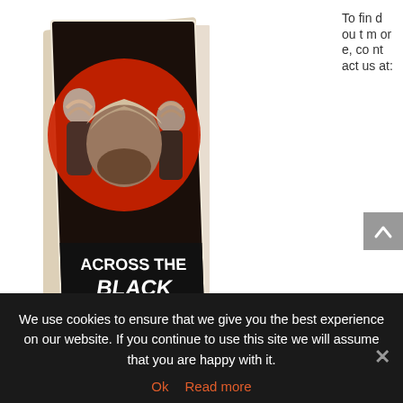[Figure (photo): Book cover of 'Across the Black Waters' by Mulk Raj Anand, showing a man in a turban against a red circular background with other turbaned figures, in a dark/dramatic style.]
To find out more, contact us at:
hello@saltsarkar.com or call Dominic on 07519 634 282
We use cookies to ensure that we give you the best experience on our website. If you continue to use this site we will assume that you are happy with it.
Ok   Read more